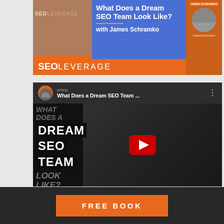[Figure (screenshot): SEOLeverage banner image with orange background showing 'What Does a Dream SEO Team Look Like? with James Schramko' text on blue section, SEOLeverage logo at bottom left, and James Schramko photo on right]
[Figure (screenshot): YouTube embedded video thumbnail showing 'What Does a Dream SEO Team...' with EP831 label, channel avatar, three-dot menu, play button overlay, and stylized text 'WHAT DOES A DREAM SEO TEAM LOOK LIKE?' over dark video frame]
FREE BOOK